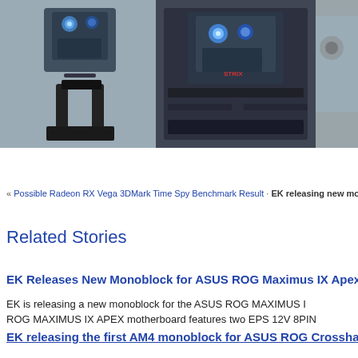[Figure (photo): Three water cooling monoblock products shown: first image shows a standalone monoblock with blue lighting on gray background, second image shows a monoblock installed on an ASUS ROG motherboard, third image is partially visible showing another product.]
« Possible Radeon RX Vega 3DMark Time Spy Benchmark Result · EK releasing new monoblock for
Related Stories
EK Releases New Monoblock for ASUS ROG Maximus IX Apex
EK is releasing a new monoblock for the ASUS ROG MAXIMUS IX APEX motherboard features two EPS 12V 8PIN
EK releasing the first AM4 monoblock for ASUS ROG Crosshai